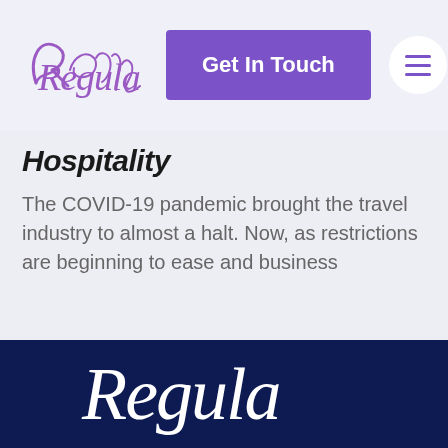[Figure (logo): Regula cursive/script logo in purple on light background, top left of navigation bar]
Get In Touch
Hospitality
The COVID-19 pandemic brought the travel industry to almost a halt. Now, as restrictions are beginning to ease and business
[Figure (logo): Regula cursive/script logo in white on dark navy blue background, large footer logo]